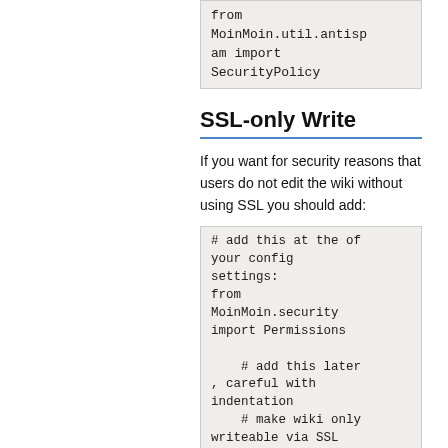from MoinMoin.util.antispam import SecurityPolicy
SSL-only Write
If you want for security reasons that users do not edit the wiki without using SSL you should add:
# add this at the of your config settings:
from MoinMoin.security import Permissions

    # add this later
, careful with indentation
    # make wiki only writeable via SSL
    class SecurityPolicy(Permissions):